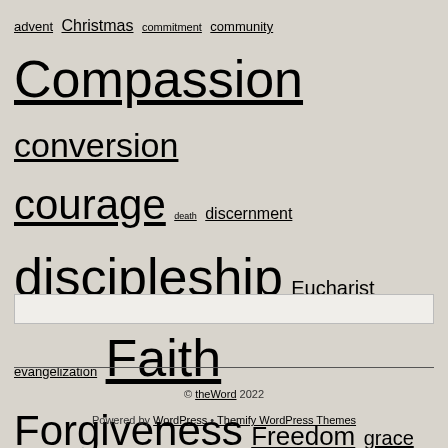[Figure (infographic): Tag cloud with religious/spiritual terms in varying font sizes indicating frequency: advent, Christmas, commitment, community, Compassion, conversion, courage, death, discernment, discipleship, Eucharist, evangelization, Faith, Forgiveness, Freedom, grace, healing, Holy Spirit, hope, Humility, incarnation, integrity, Jesus, joy, Justice, Kingdom of God, life, Light, listening, love, Mercy, mission, peace, prayer, Preaching, repentance, resurrection, salvation, sin, suffering, transformation, trust, trust in God, Truth, wisdom]
© theWord 2022
Powered by WordPress • Themify WordPress Themes